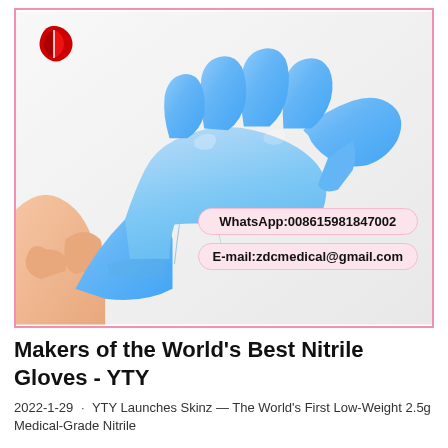[Figure (photo): A hand wearing a blue nitrile medical glove, shown from below with fingers spread and the glove being pulled on at the wrist. A red company logo appears in the top-left corner of the framed image. Two contact pill-shaped labels are overlaid at the bottom-right: 'WhatsApp:008615981847002' and 'E-mail:zdcmedical@gmail.com'. The image is framed with a pink/rose border.]
Makers of the World's Best Nitrile Gloves - YTY
2022-1-29 · YTY Launches Skinz — The World's First Low-Weight 2.5g Medical-Grade Nitrile